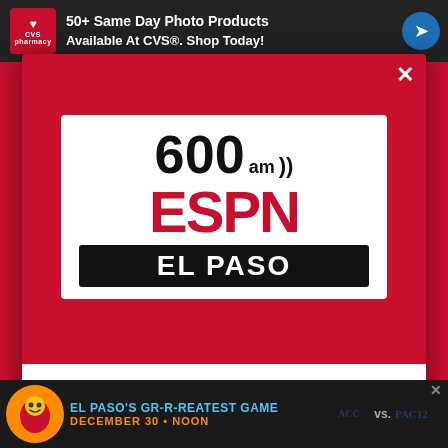[Figure (screenshot): Top ad bar showing CVS logo and '50+ Same Day Photo Products Available At CVS®. Shop Today!' advertisement with blue navigation arrow]
[Figure (logo): 600 AM ESPN El Paso radio station logo: white box with '600 am' in black bold, radio waves symbol, 'ESPN' in large red letters, 'EL PASO' in white on black bar — displayed in a red modal popup]
DOWNLOAD THE 600 ESPN EL PASO MOBILE APP
GET OUR FREE MOBILE APP
Also listen on: amazon alexa
[Figure (screenshot): Bottom ad bar: El Paso's GR-R-REATEST GAME, December 30 • Noon, ACC vs. PAC 12, with mascot logo]